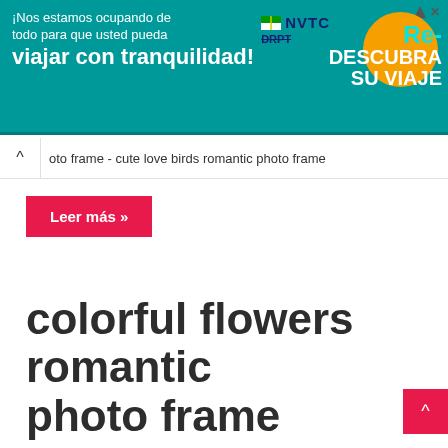[Figure (screenshot): Advertisement banner for NVTC/DRPT transit service with teal background. Spanish text reads: '¡Nos estamos ocupando de todo para que usted pueda viajar con tranquilidad!' with logos and 'Re-DESCUBRA SU VIAJE' in white text on teal background with orange circle.]
oto frame - cute love birds romantic photo frame
Leer más »
colorful flowers romantic photo frame